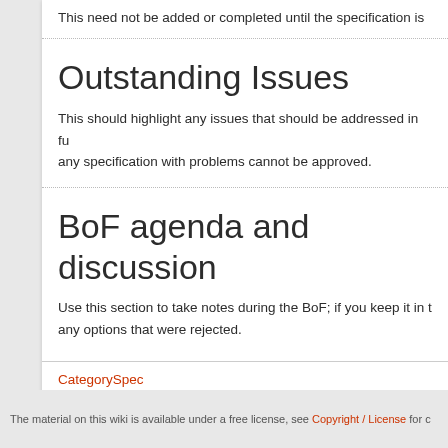This need not be added or completed until the specification is
Outstanding Issues
This should highlight any issues that should be addressed in fu any specification with problems cannot be approved.
BoF agenda and discussion
Use this section to take notes during the BoF; if you keep it in t any options that were rejected.
CategorySpec
The material on this wiki is available under a free license, see Copyright / License for c